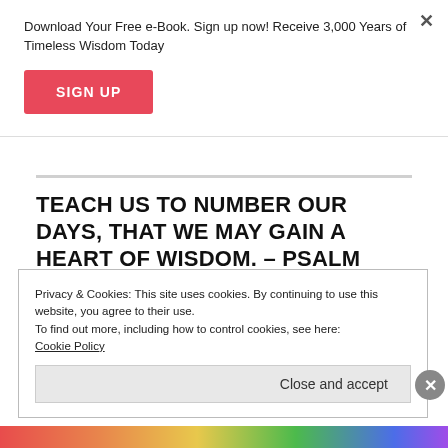Download Your Free e-Book. Sign up now! Receive 3,000 Years of Timeless Wisdom Today
SIGN UP
TEACH US TO NUMBER OUR DAYS, THAT WE MAY GAIN A HEART OF WISDOM. – PSALM 90:12
February 2020
Privacy & Cookies: This site uses cookies. By continuing to use this website, you agree to their use.
To find out more, including how to control cookies, see here:
Cookie Policy
Close and accept